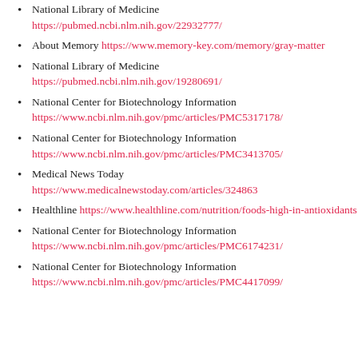National Library of Medicine https://pubmed.ncbi.nlm.nih.gov/22932777/
About Memory https://www.memory-key.com/memory/gray-matter
National Library of Medicine https://pubmed.ncbi.nlm.nih.gov/19280691/
National Center for Biotechnology Information https://www.ncbi.nlm.nih.gov/pmc/articles/PMC5317178/
National Center for Biotechnology Information https://www.ncbi.nlm.nih.gov/pmc/articles/PMC3413705/
Medical News Today https://www.medicalnewstoday.com/articles/324863
Healthline https://www.healthline.com/nutrition/foods-high-in-antioxidants
National Center for Biotechnology Information https://www.ncbi.nlm.nih.gov/pmc/articles/PMC6174231/
National Center for Biotechnology Information https://www.ncbi.nlm.nih.gov/pmc/articles/PMC4417099/